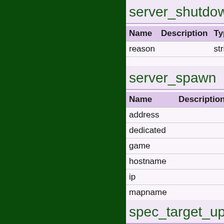server_shutdown
| Name | Description | Type |
| --- | --- | --- |
| reason |  | string |
server_spawn
| Name | Description |
| --- | --- |
| address |  |
| dedicated |  |
| game |  |
| hostname |  |
| ip |  |
| mapname |  |
| maxplayers |  |
| os |  |
| password |  |
| port |  |
spec_target_update